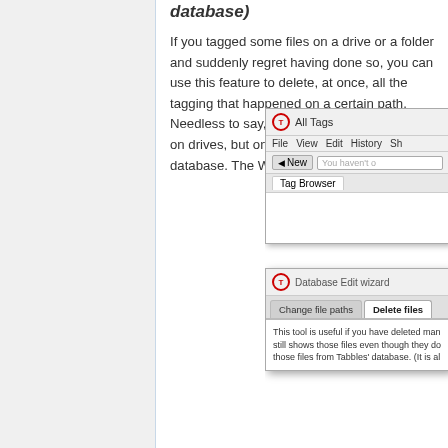database)
If you tagged some files on a drive or a folder and suddenly regret having done so, you can use this feature to delete, at once, all the tagging that happened on a certain path. Needless to say, this will NOT delete the files on drives, but only the entries in the Tabbles database. The Wizard will look like this:
[Figure (screenshot): Screenshot of Tabbles application showing the All Tags window with File, View, Edit, History menus and Tag Browser tab, with an overlaid Database Edit wizard dialog showing 'Change file paths' and 'Delete files' tabs, and body text about the tool being useful if you have deleted many files.]